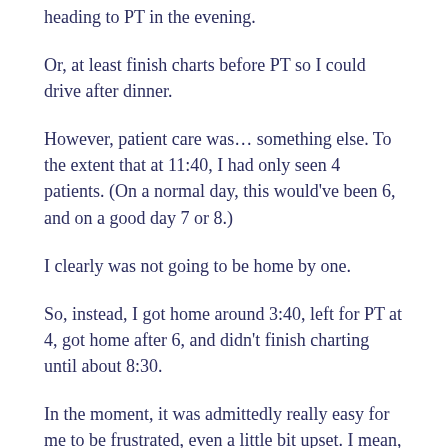heading to PT in the evening.
Or, at least finish charts before PT so I could drive after dinner.
However, patient care was... something else.  To the extent that at 11:40, I had only seen 4 patients.  (On a normal day, this would’ve been 6, and on a good day 7 or 8.)
I clearly was not going to be home by one.
So, instead, I got home around 3:40, left for PT at 4, got home after 6, and didn’t finish charting until about 8:30.
In the moment, it was admittedly really easy for me to be frustrated, even a little bit upset.  I mean, all I wanted was to be outside... in the fields.  Why did it